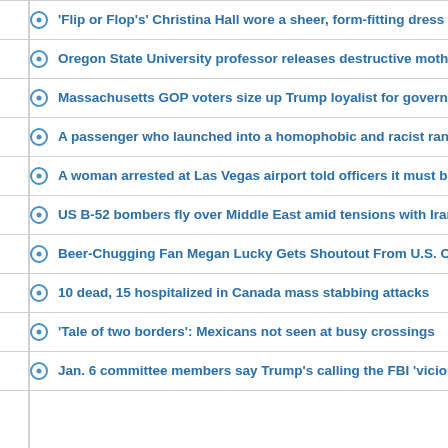'Flip or Flop's' Christina Hall wore a sheer, form-fitting dress covered in flo…
Oregon State University professor releases destructive moths, wasps into o…
Massachusetts GOP voters size up Trump loyalist for governor
A passenger who launched into a homophobic and racist rant on an Americ…
A woman arrested at Las Vegas airport told officers it must be because she'…
US B-52 bombers fly over Middle East amid tensions with Iran
Beer-Chugging Fan Megan Lucky Gets Shoutout From U.S. Open In Viral Re…
10 dead, 15 hospitalized in Canada mass stabbing attacks
'Tale of two borders': Mexicans not seen at busy crossings
Jan. 6 committee members say Trump's calling the FBI 'vicious monsters' a…